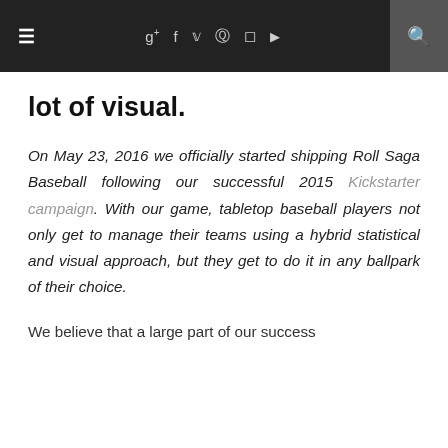≡ g+ f 𝕥 𝗽 📷 ▶ 🔍
lot of visual.
On May 23, 2016 we officially started shipping Roll Saga Baseball following our successful 2015 Kickstarter campaign. With our game, tabletop baseball players not only get to manage their teams using a hybrid statistical and visual approach, but they get to do it in any ballpark of their choice.
We believe that a large part of our success